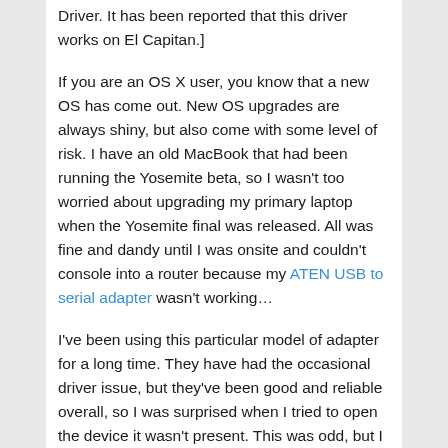Driver. It has been reported that this driver works on El Capitan.]
If you are an OS X user, you know that a new OS has come out. New OS upgrades are always shiny, but also come with some level of risk. I have an old MacBook that had been running the Yosemite beta, so I wasn't too worried about upgrading my primary laptop when the Yosemite final was released. All was fine and dandy until I was onsite and couldn't console into a router because my ATEN USB to serial adapter wasn't working…
I've been using this particular model of adapter for a long time. They have had the occasional driver issue, but they've been good and reliable overall, so I was surprised when I tried to open the device it wasn't present. This was odd, but I immediately realized it probably had to do with the OS upgrade. No problem, I'll just reinstall the driver, problem solved!
Not so much. The device still wasn't loading. At this point,